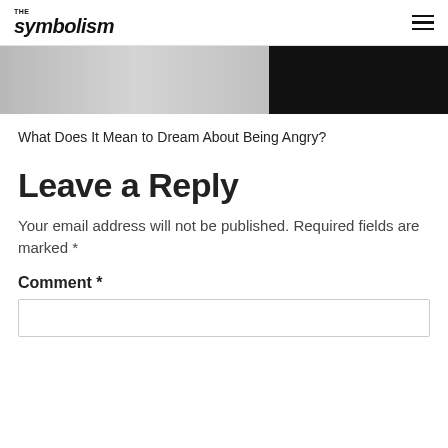THE symbolism
[Figure (photo): A split image: left half shows a light grey gradient surface, right half is dark/black background.]
What Does It Mean to Dream About Being Angry?
Leave a Reply
Your email address will not be published. Required fields are marked *
Comment *